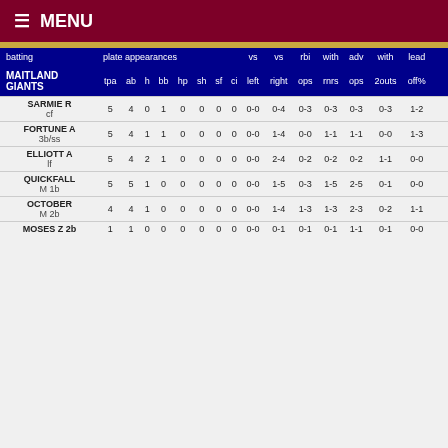≡ MENU
| batting | tpa | ab | h | bb | hp | sh | sf | ci | left | right | ops | rnrs | ops | 2outs | off% |
| --- | --- | --- | --- | --- | --- | --- | --- | --- | --- | --- | --- | --- | --- | --- | --- |
| SARMIE R cf | 5 | 4 | 0 | 1 | 0 | 0 | 0 | 0 | 0-0 | 0-4 | 0-3 | 0-3 | 0-3 | 0-3 | 1-2 |
| FORTUNE A 3b/ss | 5 | 4 | 1 | 1 | 0 | 0 | 0 | 0 | 0-0 | 1-4 | 0-0 | 1-1 | 1-1 | 0-0 | 1-3 |
| ELLIOTT A lf | 5 | 4 | 2 | 1 | 0 | 0 | 0 | 0 | 0-0 | 2-4 | 0-2 | 0-2 | 0-2 | 1-1 | 0-0 |
| QUICKFALL M 1b | 5 | 5 | 1 | 0 | 0 | 0 | 0 | 0 | 0-0 | 1-5 | 0-3 | 1-5 | 2-5 | 0-1 | 0-0 |
| OCTOBER M 2b | 4 | 4 | 1 | 0 | 0 | 0 | 0 | 0 | 0-0 | 1-4 | 1-3 | 1-3 | 2-3 | 0-2 | 1-1 |
| MOSES Z 2b | 1 | 1 | 0 | 0 | 0 | 0 | 0 | 0 | 0-0 | 0-1 | 0-1 | 0-1 | 1-1 | 0-1 | 0-0 |